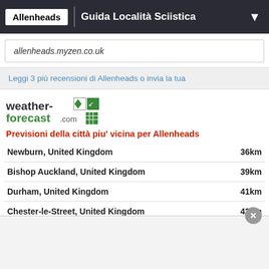Allenheads | Guida Località Sciistica
allenheads.myzen.co.uk
Leggi 3 più recensioni di Allenheads o invia la tua
[Figure (logo): weather-forecast.com logo with green and dark text and icon]
Previsioni della città piu' vicina per Allenheads
| City | Distance |
| --- | --- |
| Newburn, United Kingdom | 36km |
| Bishop Auckland, United Kingdom | 39km |
| Durham, United Kingdom | 41km |
| Chester-le-Street, United Kingdom | 42km |
| Felling, United Kingdom | 45km |